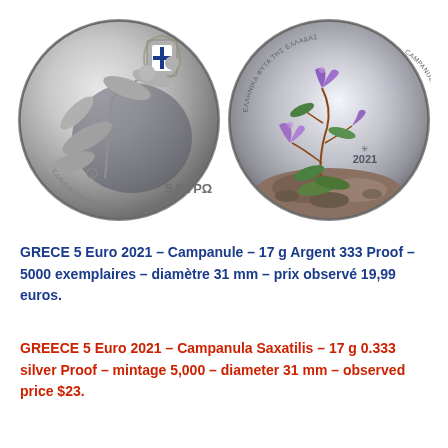[Figure (photo): Two sides of a Greek 5 Euro 2021 Campanula Saxatilis silver coin. Left: obverse showing engraved flower design with Greek coat of arms shield, text 'ΕΛΛΗΝΙΚΗ ΔΗΜΟΚΡΑΤΙΑ' and '5 ΕΥΡΩ'. Right: reverse showing colorized campanula saxatilis plant growing from rocks, with text 'ΕΛΛΗΝΙΚΑ ΦΥΤΑ ΤΗΣ ΕΛΛΑΔΑΣ', 'CAMPANULA SAXATILIS', and '2021'.]
GRECE 5 Euro 2021 – Campanule – 17 g Argent 333 Proof – 5000 exemplaires – diamètre 31 mm – prix observé 19,99 euros.
GREECE 5 Euro 2021 – Campanula Saxatilis – 17 g 0.333 silver Proof – mintage 5,000 – diameter 31 mm – observed price $23.